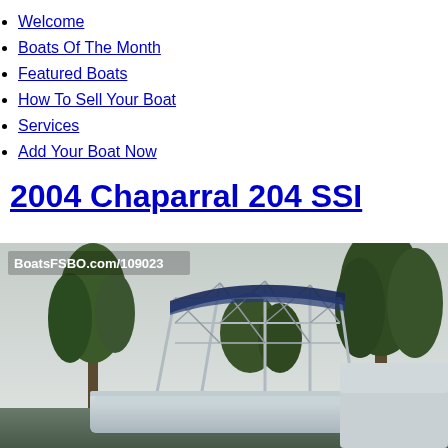Welcome
Boats Of The Month
Featured Boats
How To Sell Your Boat
Services
Add Your Boat Now
2004 Chaparral 204 SSI
[Figure (photo): Photo of a 2004 Chaparral 204 SSI boat on a trailer outdoors, with trees in the background and a blue bimini top. Watermark reads BoatsFSBO.com/109023]